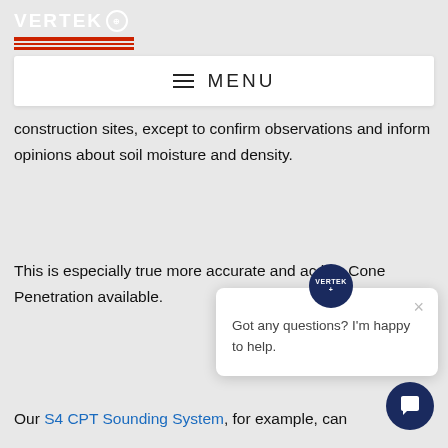VERTEK [logo] | MENU navigation bar
Technicians, of course, should be aware of the limitations of the sand cone test as many factors can skew its results. In other words, the sand cone construction sites, except to confirm observations and inform opinions about soil moisture and density.
This is especially true more accurate and ac like Cone Penetration available.
Our S4 CPT Sounding System, for example, can
[Figure (screenshot): Chat widget popup with Vertek logo avatar, close button (×), and text 'Got any questions? I'm happy to help.' with a dark navy circular chat button at bottom right.]